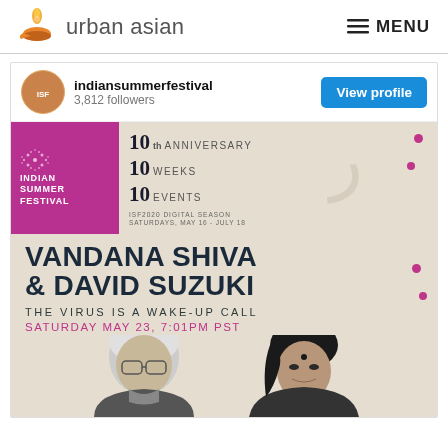urban asian   MENU
indiansummerfestival
3,812 followers
View profile
[Figure (screenshot): Indian Summer Festival promotional poster showing: pink box with Indian Summer Festival logo (10th Anniversary, 10 Weeks, 10 Events, ISF2020 Digital Season, Saturdays, May 16 - July 18), decorative calligraphy on right side, text 'VANDANA SHIVA & DAVID SUZUKI', subtitle 'THE VIRUS IS A WAKE-UP CALL', date 'SATURDAY MAY 23, 7:01PM PST', and photos of two speakers at bottom]